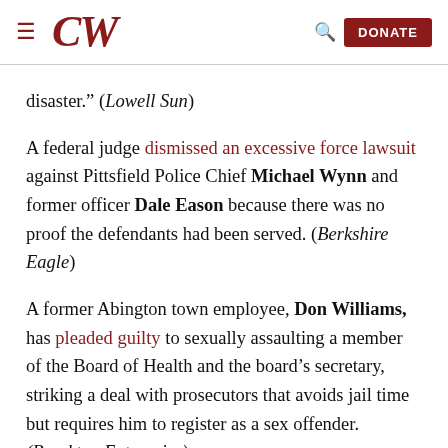CW [logo] | Search | DONATE
disaster." (Lowell Sun)
A federal judge dismissed an excessive force lawsuit against Pittsfield Police Chief Michael Wynn and former officer Dale Eason because there was no proof the defendants had been served. (Berkshire Eagle)
A former Abington town employee, Don Williams, has pleaded guilty to sexually assaulting a member of the Board of Health and the board's secretary, striking a deal with prosecutors that avoids jail time but requires him to register as a sex offender. (Brockton Enterprise)
A former dining room manager at the Ritz...